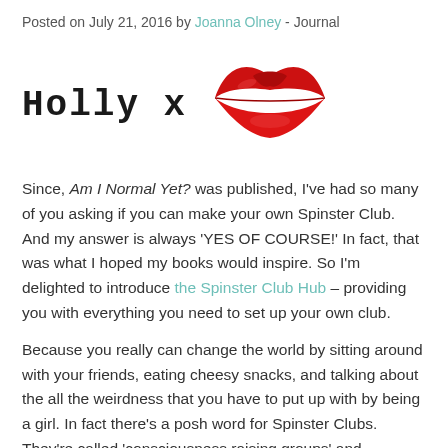Posted on July 21, 2016 by Joanna Olney - Journal
Holly x [lips image]
[Figure (illustration): Red lips / kiss mark illustration in red]
Since, Am I Normal Yet? was published, I've had so many of you asking if you can make your own Spinster Club. And my answer is always 'YES OF COURSE!' In fact, that was what I hoped my books would inspire. So I'm delighted to introduce the Spinster Club Hub – providing you with everything you need to set up your own club.
Because you really can change the world by sitting around with your friends, eating cheesy snacks, and talking about the all the weirdness that you have to put up with by being a girl. In fact there's a posh word for Spinster Clubs. They're called 'consciousness raising groups' and historically a LOT of world-